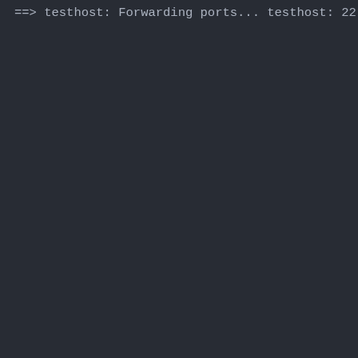[Figure (screenshot): Terminal output showing Vagrant VM boot and provisioning log lines on a dark background. Lines include forwarding ports, running pre-boot VM customizations, booting VM, waiting for machine to boot, SSH address, SSH username, SSH auth method, VirtualBox version, [...], setting hostname, configuring and enabling network, mounting shared folders, running provisioner shell script, running inline script, add following line, and @cert-authority line.]